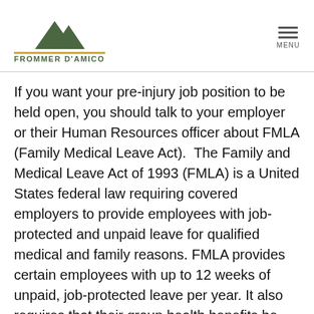[Figure (logo): Frommer D'Amico law firm logo with mountain peaks icon above the firm name in green and gold]
If you want your pre-injury job position to be held open, you should talk to your employer or their Human Resources officer about FMLA (Family Medical Leave Act).  The Family and Medical Leave Act of 1993 (FMLA) is a United States federal law requiring covered employers to provide employees with job-protected and unpaid leave for qualified medical and family reasons. FMLA provides certain employees with up to 12 weeks of unpaid, job-protected leave per year. It also requires that their group health benefits be maintained during the leave.  If and when your employer wants to cut off your medical benefits, they